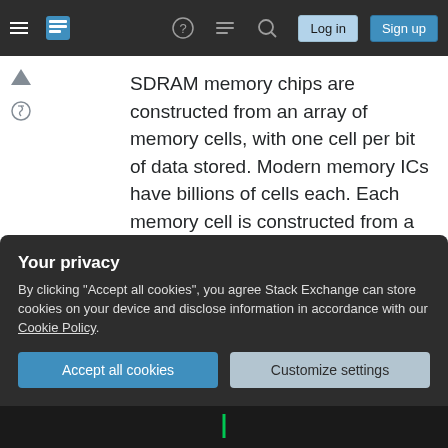Stack Exchange navigation bar with hamburger menu, logo, help, chat, search icons, Log in and Sign up buttons
SDRAM memory chips are constructed from an array of memory cells, with one cell per bit of data stored. Modern memory ICs have billions of cells each. Each memory cell is constructed from a transistor and a capacitor. A transistor is like an electronic switch, and a capacitor is like a tiny battery. The value stored in the cell is a single bit - a value of 0 or 1, represented by a low or high voltage.
Here's a circuit diagram of a simple memory cell:
Your privacy
By clicking "Accept all cookies", you agree Stack Exchange can store cookies on your device and disclose information in accordance with our Cookie Policy.
Accept all cookies  Customize settings